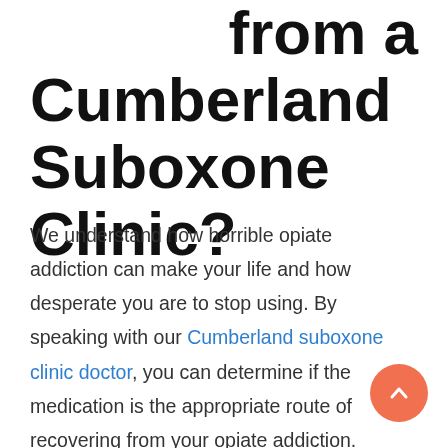from a Cumberland Suboxone Clinic?
We understand how horrible opiate addiction can make your life and how desperate you are to stop using. By speaking with our Cumberland suboxone clinic doctor, you can determine if the medication is the appropriate route of recovering from your opiate addiction. When it's included as part of a person's medication-assisted treatment plan, suboxone gives people the mental clarity and dedication needed to focus on and complete the recovery process.